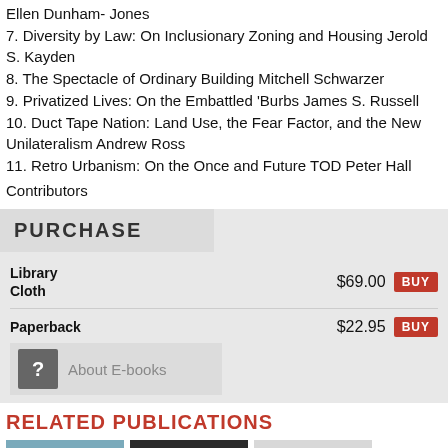Ellen Dunham- Jones
7. Diversity by Law: On Inclusionary Zoning and Housing Jerold S. Kayden
8. The Spectacle of Ordinary Building Mitchell Schwarzer
9. Privatized Lives: On the Embattled 'Burbs James S. Russell
10. Duct Tape Nation: Land Use, the Fear Factor, and the New Unilateralism Andrew Ross
11. Retro Urbanism: On the Once and Future TOD Peter Hall
Contributors
PURCHASE
| Item | Price | Action |
| --- | --- | --- |
| Library Cloth | $69.00 | BUY |
| Paperback | $22.95 | BUY |
About E-books
RELATED PUBLICATIONS